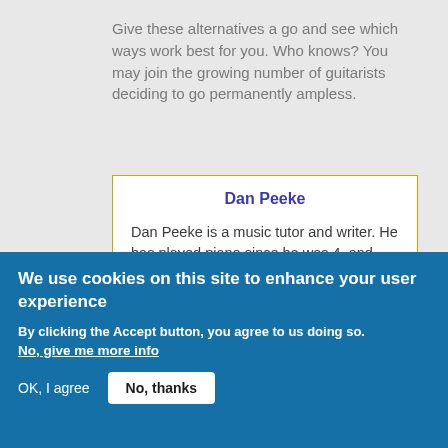Give these alternatives a go and see which ways work best for you. Who knows? You may join the growing number of guitarists deciding to go permanently ampless.
Dan Peeke
Dan Peeke is a music tutor and writer. He has played piano since he was 4, and guitar and drum kit since he was 11.
We use cookies on this site to enhance your user experience
By clicking the Accept button, you agree to us doing so.
No, give me more info
OK, I agree
No, thanks